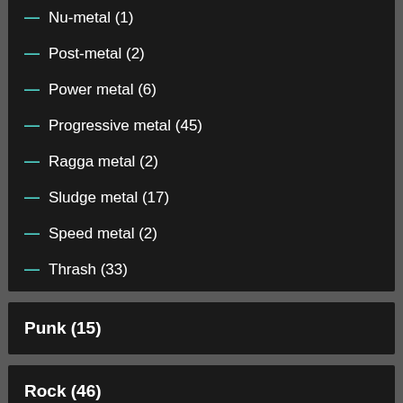— Nu-metal (1)
— Post-metal (2)
— Power metal (6)
— Progressive metal (45)
— Ragga metal (2)
— Sludge metal (17)
— Speed metal (2)
— Thrash (33)
Punk (15)
Rock (46)
— Acoustic (1)
— Alternative rock (1)